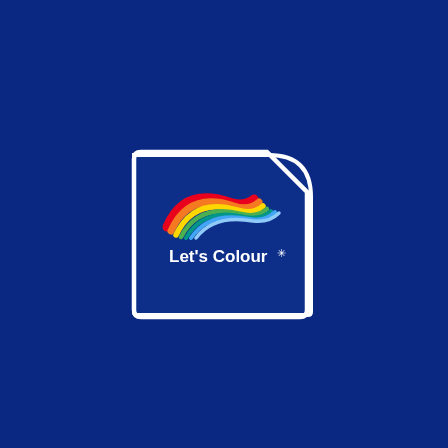[Figure (logo): Let's Colour logo — white-bordered dark blue rounded rectangle containing a multicolour swoosh (red, orange, yellow, green, teal, blue gradient arc) above the white text 'Let's Colour' with a small star/asterisk]